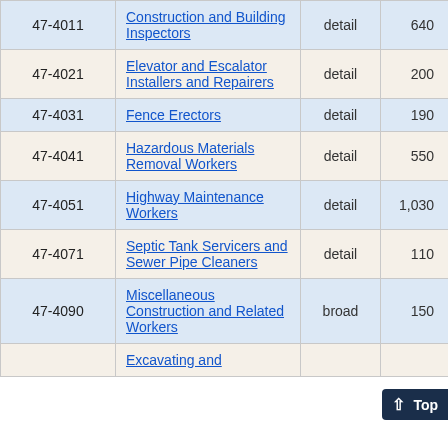| Code | Occupation | Level | Employment | ... |
| --- | --- | --- | --- | --- |
| 47-4011 | Construction and Building Inspectors | detail | 640 | 11... |
| 47-4021 | Elevator and Escalator Installers and Repairers | detail | 200 | 26... |
| 47-4031 | Fence Erectors | detail | 190 | 33... |
| 47-4041 | Hazardous Materials Removal Workers | detail | 550 | 13... |
| 47-4051 | Highway Maintenance Workers | detail | 1,030 | 8... |
| 47-4071 | Septic Tank Servicers and Sewer Pipe Cleaners | detail | 110 | 30... |
| 47-4090 | Miscellaneous Construction and Related Workers | broad | 150 | 35... |
|  | Excavating and ... |  |  |  |